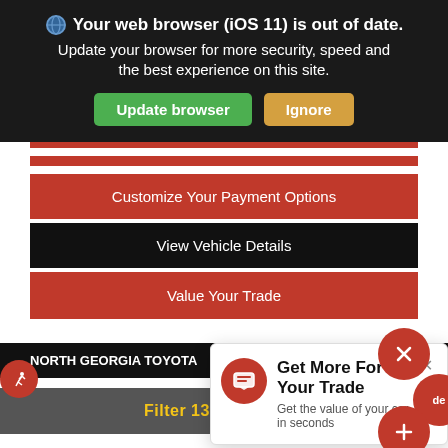Your web browser (iOS 11) is out of date. Update your browser for more security, speed and the best experience on this site.
Update browser
Ignore
Customize Your Payment Options
View Vehicle Details
Value Your Trade
NORTH GEORGIA TOYOTA   706 659 0483
Get More For Your Trade
Get the value of your car in seconds
Filter 136 Results ^